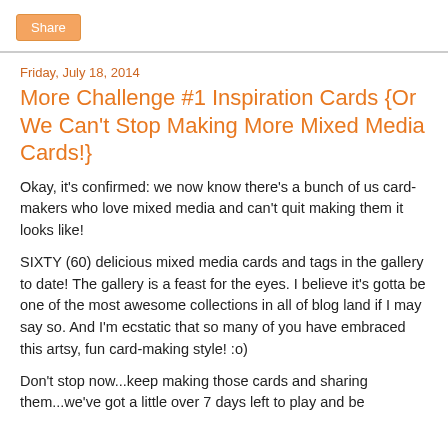Share
Friday, July 18, 2014
More Challenge #1 Inspiration Cards {Or We Can't Stop Making More Mixed Media Cards!}
Okay, it's confirmed: we now know there's a bunch of us card-makers who love mixed media and can't quit making them it looks like!
SIXTY (60) delicious mixed media cards and tags in the gallery to date! The gallery is a feast for the eyes. I believe it's gotta be one of the most awesome collections in all of blog land if I may say so. And I'm ecstatic that so many of you have embraced this artsy, fun card-making style! :o)
Don't stop now...keep making those cards and sharing them...we've got a little over 7 days left to play and be